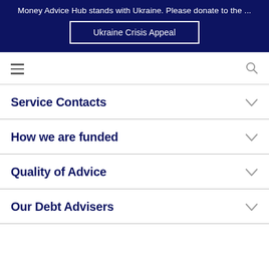Money Advice Hub stands with Ukraine. Please donate to the ...
Ukraine Crisis Appeal
Service Contacts
How we are funded
Quality of Advice
Our Debt Advisers